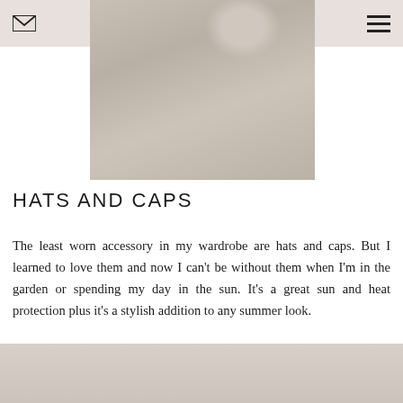[Figure (photo): Close-up photo of light grey/beige fabric (possibly a shirt or cloth) with a round hat or cap visible in the upper right area. Soft neutral tones.]
HATS AND CAPS
The least worn accessory in my wardrobe are hats and caps. But I learned to love them and now I can't be without them when I'm in the garden or spending my day in the sun. It's a great sun and heat protection plus it's a stylish addition to any summer look.
[Figure (photo): Bottom edge of another photo showing a light wood grain surface, cropped at the bottom of the page.]